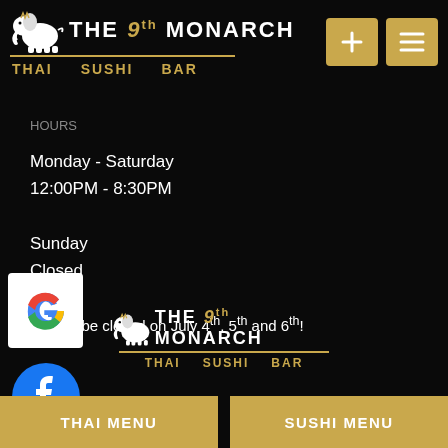[Figure (logo): The 9th Monarch Thai Sushi Bar logo with white elephant and gold text]
HOURS
Monday - Saturday
12:00PM - 8:30PM

Sunday
Closed
We will be closed on July 4th, 5th and 6th!
[Figure (logo): Google G logo icon]
[Figure (logo): The 9th Monarch Thai Sushi Bar footer logo]
[Figure (logo): Facebook logo icon]
Copyright © 2022 The 9th Monarch, all rights reserved.
634 St... uth,
THAI MENU
SUSHI MENU